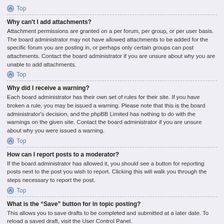Top
Why can't I add attachments?
Attachment permissions are granted on a per forum, per group, or per user basis. The board administrator may not have allowed attachments to be added for the specific forum you are posting in, or perhaps only certain groups can post attachments. Contact the board administrator if you are unsure about why you are unable to add attachments.
Top
Why did I receive a warning?
Each board administrator has their own set of rules for their site. If you have broken a rule, you may be issued a warning. Please note that this is the board administrator's decision, and the phpBB Limited has nothing to do with the warnings on the given site. Contact the board administrator if you are unsure about why you were issued a warning.
Top
How can I report posts to a moderator?
If the board administrator has allowed it, you should see a button for reporting posts next to the post you wish to report. Clicking this will walk you through the steps necessary to report the post.
Top
What is the “Save” button for in topic posting?
This allows you to save drafts to be completed and submitted at a later date. To reload a saved draft, visit the User Control Panel.
Top